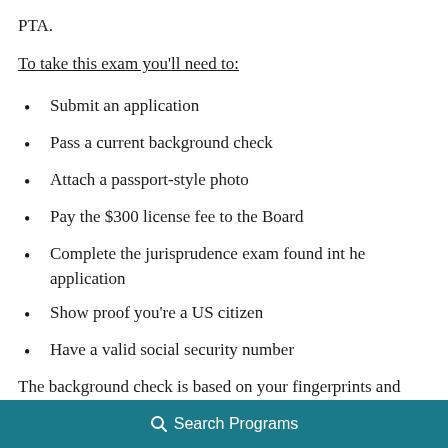PTA.
To take this exam you'll need to:
Submit an application
Pass a current background check
Attach a passport-style photo
Pay the $300 license fee to the Board
Complete the jurisprudence exam found int he application
Show proof you're a US citizen
Have a valid social security number
The background check is based on your fingerprints and
Search Programs